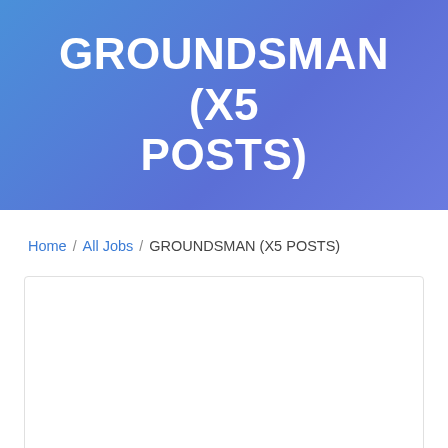GROUNDSMAN (X5 POSTS)
Home / All Jobs / GROUNDSMAN (X5 POSTS)